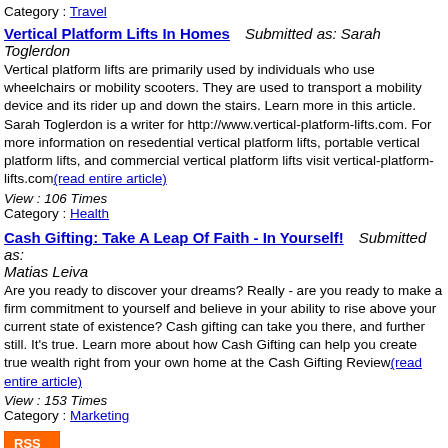Category :  Travel
Vertical Platform Lifts In Homes    Submitted as: Sarah Toglerdon
Vertical platform lifts are primarily used by individuals who use wheelchairs or mobility scooters. They are used to transport a mobility device and its rider up and down the stairs. Learn more in this article. Sarah Toglerdon is a writer for http://www.vertical-platform-lifts.com. For more information on resedential vertical platform lifts, portable vertical platform lifts, and commercial vertical platform lifts visit vertical-platform-lifts.com(read entire article)
View : 106 Times
Category : Health
Cash Gifting: Take A Leap Of Faith - In Yourself!    Submitted as: Matias Leiva
Are you ready to discover your dreams? Really - are you ready to make a firm commitment to yourself and believe in your ability to rise above your current state of existence? Cash gifting can take you there, and further still. It's true. Learn more about how Cash Gifting can help you create true wealth right from your own home at the Cash Gifting Review(read entire article)
View : 153 Times
Category : Marketing
[Figure (other): RSS feed badge - orange rectangle with white RSS text]